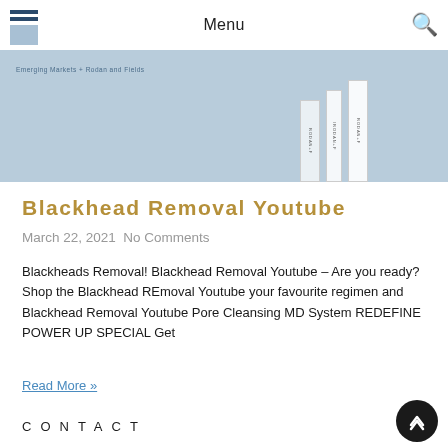Menu
[Figure (photo): Hero banner image showing Rodan and Fields skincare product bottles on a blue/grey background with text overlay reading 'Emerging Markets + Rodan and Fields']
Blackhead Removal Youtube
March 22, 2021  No Comments
Blackheads Removal! Blackhead Removal Youtube – Are you ready?  Shop the Blackhead REmoval Youtube your favourite regimen and Blackhead Removal Youtube Pore Cleansing MD System REDEFINE POWER UP SPECIAL Get
Read More »
CONTACT